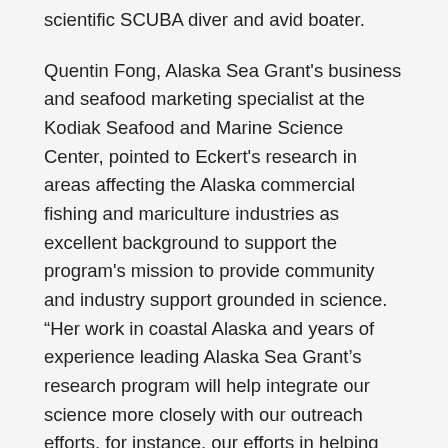scientific SCUBA diver and avid boater.
Quentin Fong, Alaska Sea Grant's business and seafood marketing specialist at the Kodiak Seafood and Marine Science Center, pointed to Eckert's research in areas affecting the Alaska commercial fishing and mariculture industries as excellent background to support the program's mission to provide community and industry support grounded in science. “Her work in coastal Alaska and years of experience leading Alaska Sea Grant’s research program will help integrate our science more closely with our outreach efforts, for instance, our efforts in helping develop and promote Alaska’s fledgling shellfish and seaweed farming industry through research and education,” said Fong.
As with other programs throughout the University of Alaska system, Alaska Sea Grant has seen a reduction in state funding. The program continues to focus its mission on responding to the needs of Alaska’s coastal